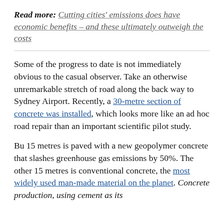Read more: Cutting cities' emissions does have economic benefits – and these ultimately outweigh the costs
Some of the progress to date is not immediately obvious to the casual observer. Take an otherwise unremarkable stretch of road along the back way to Sydney Airport. Recently, a 30-metre section of concrete was installed, which looks more like an ad hoc road repair than an important scientific pilot study.
Bu 15 metres is paved with a new geopolymer concrete that slashes greenhouse gas emissions by 50%. The other 15 metres is conventional concrete, the most widely used man-made material on the planet. Concrete production, using cement as its